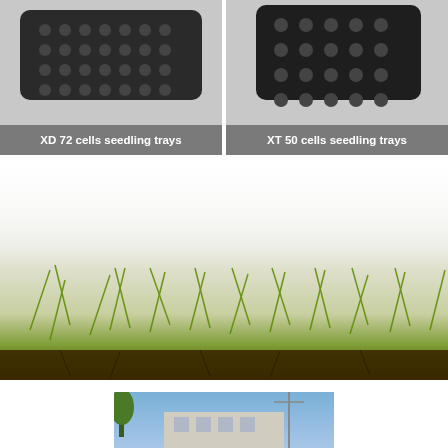[Figure (photo): Two seedling trays side by side: left shows 'XD 72 cells seedling trays' and right shows 'XT 50 cells seedling trays', both dark plastic trays on gray background with white text labels]
[Figure (photo): Close-up photo of green seedling sprouts emerging from dark soil, blurred white background above]
[Figure (photo): Photo of a building exterior with blue sky, partially visible at bottom of page]